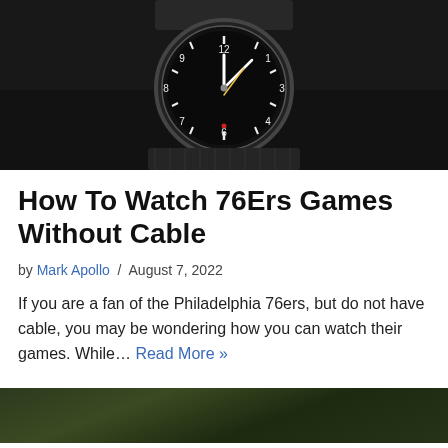[Figure (photo): Close-up photo of a dark analog wristwatch with white hands, yellow seconds hand, and dark mesh band on a dark background]
How To Watch 76Ers Games Without Cable
by Mark Apollo / August 7, 2022
If you are a fan of the Philadelphia 76ers, but do not have cable, you may be wondering how you can watch their games. While… Read More »
[Figure (photo): Partial view of a second article image, appears to show a green outdoor/nature scene]